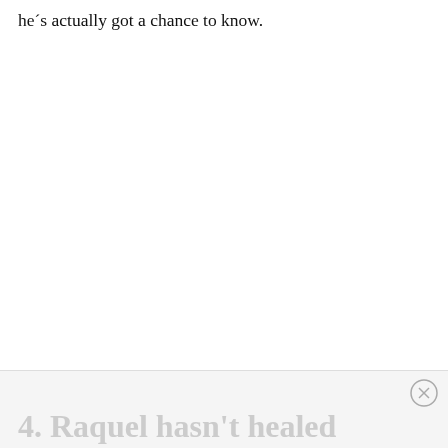he´s actually got a chance to know.
4. Raquel hasn’t healed